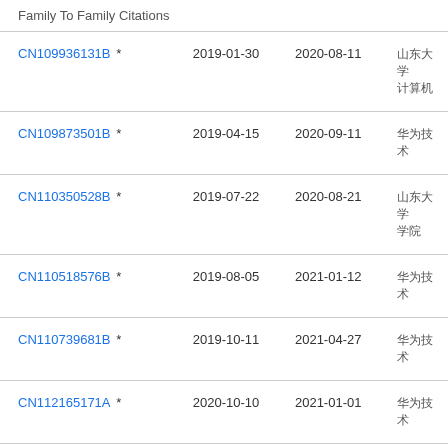| Family To Family Citations |  |  |  |
| --- | --- | --- | --- |
| CN109936131B * | 2019-01-30 | 2020-08-11 | □□□□ □□□□ |
| CN109873501B * | 2019-04-15 | 2020-09-11 | □□□□ |
| CN110350528B * | 2019-07-22 | 2020-08-21 | □□□□ □□ |
| CN110518576B * | 2019-08-05 | 2021-01-12 | □□□□ |
| CN110739681B * | 2019-10-11 | 2021-04-27 | □□□□ |
| CN112165171A * | 2020-10-10 | 2021-01-01 | □□□□ |